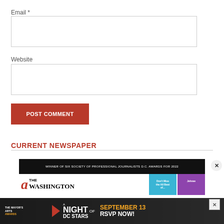Email *
Website
POST COMMENT
CURRENT NEWSPAPER
[Figure (screenshot): Newspaper header screenshot showing 'Winner of Six Society of Professional Journalists D.C. Awards for 2022' banner and The Washington newspaper masthead with advertisement boxes]
[Figure (infographic): Advertisement banner: The Mayor's Arts Awards - A Night of DC Stars - September 13 - RSVP Now!]